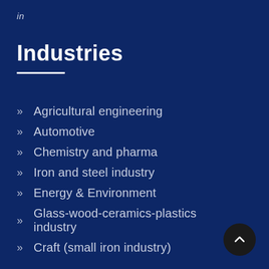in
Industries
Agricultural engineering
Automotive
Chemistry and pharma
Iron and steel industry
Energy & Environment
Glass-wood-ceramics-plastics industry
Craft (small iron industry)